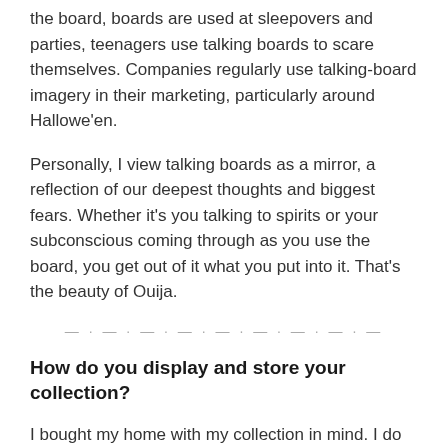the board, boards are used at sleepovers and parties, teenagers use talking boards to scare themselves. Companies regularly use talking-board imagery in their marketing, particularly around Hallowe'en.
Personally, I view talking boards as a mirror, a reflection of our deepest thoughts and biggest fears. Whether it's you talking to spirits or your subconscious coming through as you use the board, you get out of it what you put into it. That's the beauty of Ouija.
How do you display and store your collection?
I bought my home with my collection in mind. I do have things all around the house, but much of